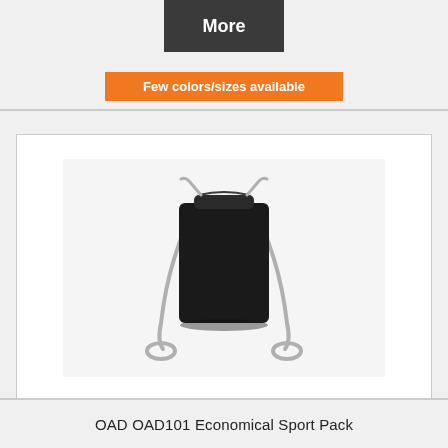[Figure (other): Dark grey 'More' button]
Few colors/sizes available
[Figure (photo): Black drawstring sport pack bag with grey/silver cords shown against light background]
OAD OAD101 Economical Sport Pack